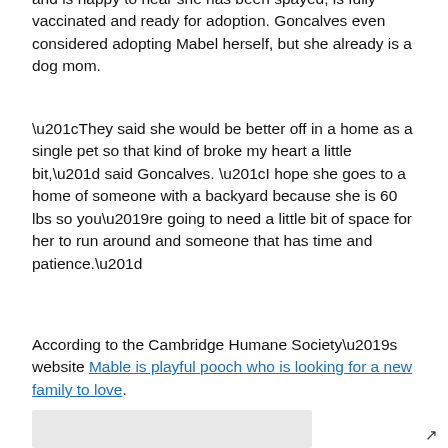and is happy to hear she has been spayed, is fully vaccinated and ready for adoption. Goncalves even considered adopting Mabel herself, but she already is a dog mom.
“They said she would be better off in a home as a single pet so that kind of broke my heart a little bit,” said Goncalves. “I hope she goes to a home of someone with a backyard because she is 60 lbs so you’re going to need a little bit of space for her to run around and someone that has time and patience.”
According to the Cambridge Humane Society’s website Mable is playful pooch who is looking for a new family to love.
[Figure (photo): Partially visible image at the bottom of the page, likely a photo of Mable the dog]